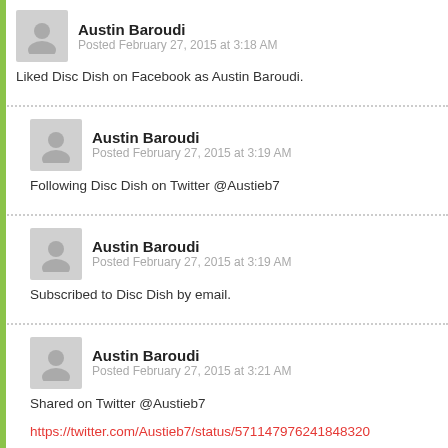Austin Baroudi
Posted February 27, 2015 at 3:18 AM
Liked Disc Dish on Facebook as Austin Baroudi.
Austin Baroudi
Posted February 27, 2015 at 3:19 AM
Following Disc Dish on Twitter @Austieb7
Austin Baroudi
Posted February 27, 2015 at 3:19 AM
Subscribed to Disc Dish by email.
Austin Baroudi
Posted February 27, 2015 at 3:21 AM
Shared on Twitter @Austieb7
https://twitter.com/Austieb7/status/571147976241848320